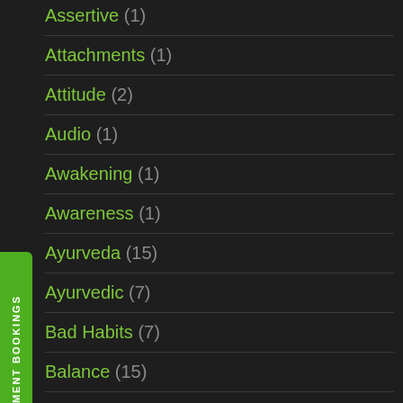Assertive (1)
Attachments (1)
Attitude (2)
Audio (1)
Awakening (1)
Awareness (1)
Ayurveda (15)
Ayurvedic (7)
Bad Habits (7)
Balance (15)
Basic Desires (2)